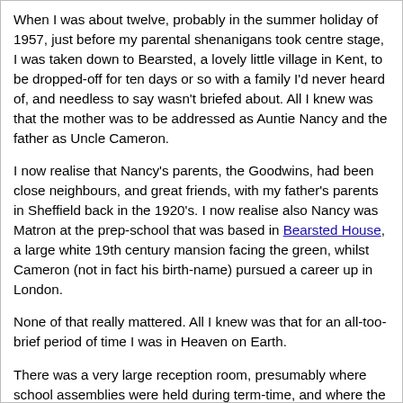When I was about twelve, probably in the summer holiday of 1957, just before my parental shenanigans took centre stage, I was taken down to Bearsted, a lovely little village in Kent, to be dropped-off for ten days or so with a family I'd never heard of, and needless to say wasn't briefed about. All I knew was that the mother was to be addressed as Auntie Nancy and the father as Uncle Cameron.
I now realise that Nancy's parents, the Goodwins, had been close neighbours, and great friends, with my father's parents in Sheffield back in the 1920's. I now realise also Nancy was Matron at the prep-school that was based in Bearsted House, a large white 19th century mansion facing the green, whilst Cameron (not in fact his birth-name) pursued a career up in London.
None of that really mattered. All I knew was that for an all-too-brief period of time I was in Heaven on Earth.
There was a very large reception room, presumably where school assemblies were held during term-time, and where the family liked to roller-skate during the holidays - I was pleasantly surprised to find I could navigate my way round fairly confidently, to a repetitive strain of Ten Thousand Miles Away on the record player. At the age of just fifteen, Jonathan was already dreaming of getting his captain's ticket and taking command of transoceanic vessels to faraway places.
There are dozens of different texts and tunes to be heard on